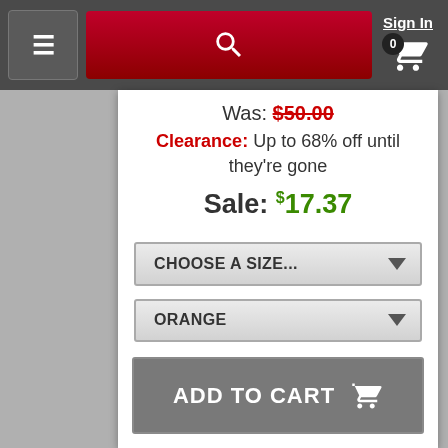Sign In  0 [cart]
Was: $50.00
Clearance: Up to 68% off until they're gone
Sale: $17.37
CHOOSE A SIZE...
ORANGE
ADD TO CART